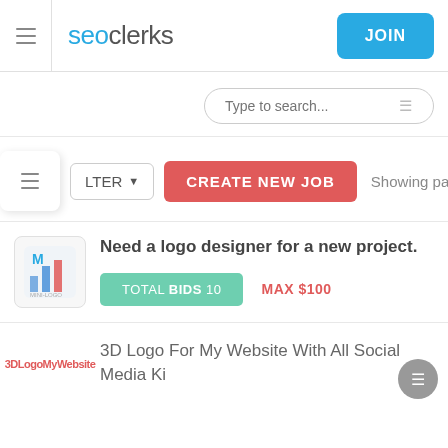seoclerks  JOIN
Type to search...
LTER ▼   CREATE NEW JOB   Showing page: 1 of 6
Need a logo designer for a new project.  TOTAL BIDS 10  MAX $100
3D Logo For My Website With All Social Media Ki